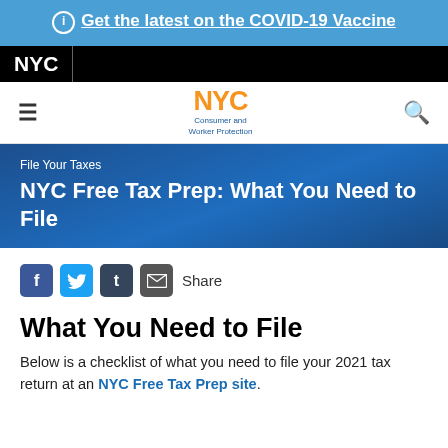Get the latest on the COVID-19 Vaccine
[Figure (logo): NYC government logo black bar]
[Figure (logo): NYC Consumer and Worker Protection logo with navigation]
File Your Taxes — NYC Free Tax Prep: What You Need to File
Share (Facebook, Twitter, Tumblr, Email)
What You Need to File
Below is a checklist of what you need to file your 2021 tax return at an NYC Free Tax Prep site.